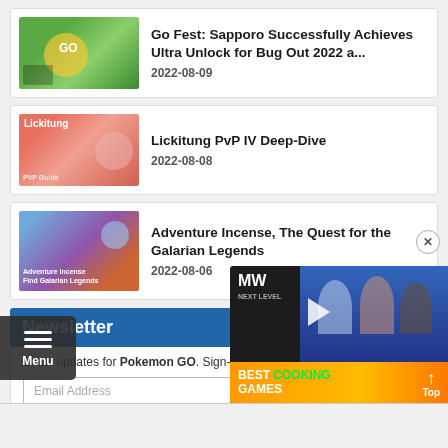[Figure (screenshot): Article card 1: thumbnail image for Go Fest Sapporo article showing gaming screenshot with green background]
Go Fest: Sapporo Successfully Achieves Ultra Unlock for Bug Out 2022 a...
2022-08-09
[Figure (screenshot): Article card 2: thumbnail image for Lickitung PvP IV Deep-Dive with Lickitung label]
Lickitung PvP IV Deep-Dive
2022-08-08
[Figure (screenshot): Article card 3: thumbnail image for Adventure Incense article with adventure incense label]
Adventure Incense, The Quest for the Galarian Legends
2022-08-06
Newsletter
Email updates for Pokemon GO. Sign-u...
Email Address
[Figure (screenshot): Ad overlay: MW Next Level logo, animated chefs characters, Best Cooking Games text on orange background, play button]